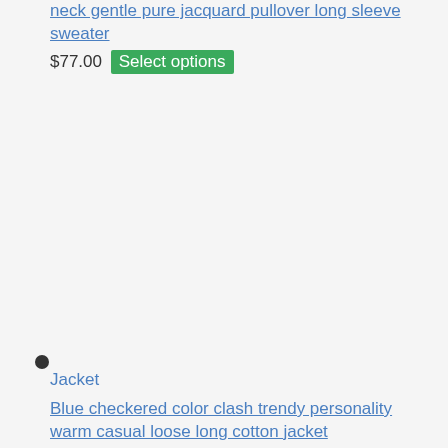neck gentle pure jacquard pullover long sleeve sweater
$77.00 Select options
Jacket
Jacket
Blue checkered color clash trendy personality warm casual loose long cotton jacket
$231.16 Select options